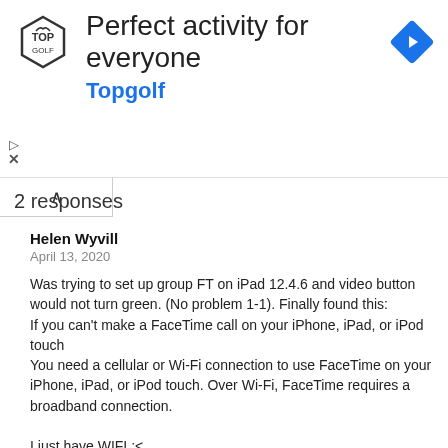[Figure (advertisement): Topgolf ad banner with logo, title 'Perfect activity for everyone', brand name 'Topgolf', navigation arrow icon, and play/close controls]
2 responses
Helen Wyvill
April 13, 2020
Was trying to set up group FT on iPad 12.4.6 and video button would not turn green. (No problem 1-1). Finally found this:
If you can't make a FaceTime call on your iPhone, iPad, or iPod touch
You need a cellular or Wi-Fi connection to use FaceTime on your iPhone, iPad, or iPod touch. Over Wi-Fi, FaceTime requires a broadband connection.

I just have WIFI :<
Reply
Tyler Collins
August 12, 2019